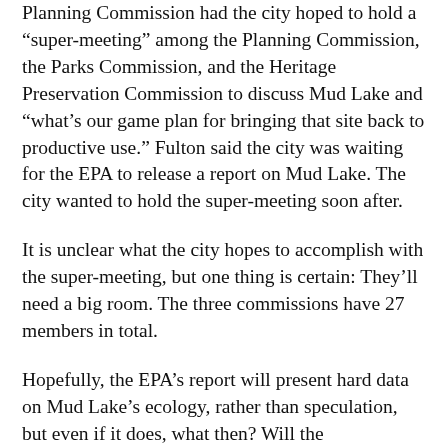Planning Commission had the city hoped to hold a “super-meeting” among the Planning Commission, the Parks Commission, and the Heritage Preservation Commission to discuss Mud Lake and “what’s our game plan for bringing that site back to productive use.” Fulton said the city was waiting for the EPA to release a report on Mud Lake. The city wanted to hold the super-meeting soon after.
It is unclear what the city hopes to accomplish with the super-meeting, but one thing is certain: They’ll need a big room. The three commissions have 27 members in total.
Hopefully, the EPA’s report will present hard data on Mud Lake’s ecology, rather than speculation, but even if it does, what then? Will the administration present a plan for Mud Lake and invite feedback? Is everybody supposed to come to a consensus?
Planning Commission President Michael Schraepfer had a more practical question about the meeting. “Who runs